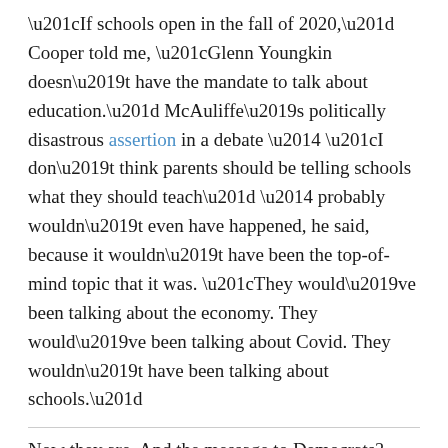“If schools open in the fall of 2020,” Cooper told me, “Glenn Youngkin doesn’t have the mandate to talk about education.” McAuliffe’s politically disastrous assertion in a debate — “I don’t think parents should be telling schools what they should teach” — probably wouldn’t even have happened, he said, because it wouldn’t have been the top-of-mind topic that it was. “They would’ve been talking about the economy. They would’ve been talking about Covid. They wouldn’t have been talking about schools.”
Now they are. And the message to Democrats? “You’re going to keep losing if you don’t pay attention to parents,” one mom from the suburbs of Virginia told CNN.